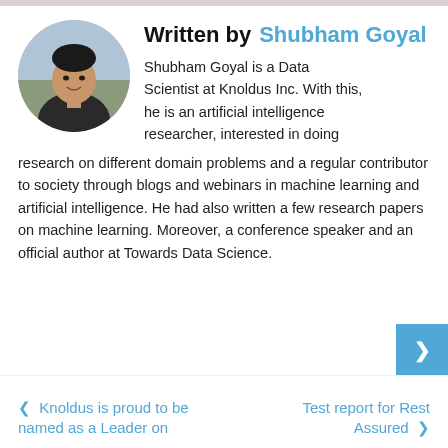[Figure (photo): Circular profile photo of Shubham Goyal, a young man in a dark jacket, smiling outdoors.]
Written by  Shubham Goyal
Shubham Goyal is a Data Scientist at Knoldus Inc. With this, he is an artificial intelligence researcher, interested in doing research on different domain problems and a regular contributor to society through blogs and webinars in machine learning and artificial intelligence. He had also written a few research papers on machine learning. Moreover, a conference speaker and an official author at Towards Data Science.
← Knoldus is proud to be named as a Leader on
Test report for Rest Assured →